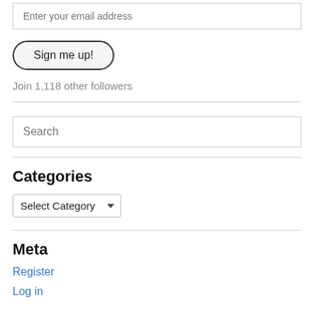Enter your email address
Sign me up!
Join 1,118 other followers
Search
Categories
Select Category
Meta
Register
Log in